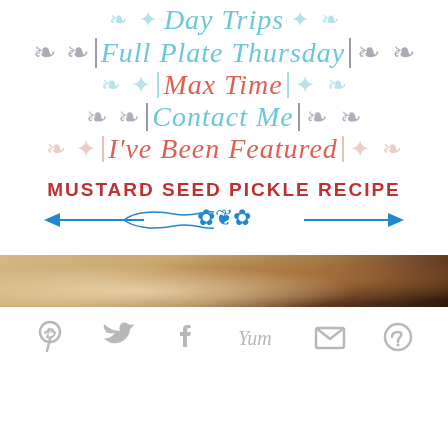Day Trips
Full Plate Thursday
Max Time
Contact Me
I've Been Featured
MUSTARD SEED PICKLE RECIPE
[Figure (other): Decorative horizontal divider with blue ornamental scroll design and arrows]
[Figure (photo): Partial photo of food/pickles at bottom of page]
[Figure (infographic): Social sharing icons bar: Pinterest, Twitter, Facebook, Yummly, Email, More]